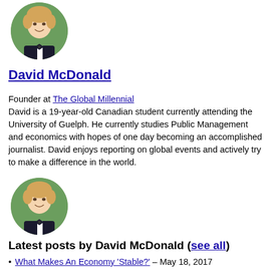[Figure (photo): Circular portrait photo of David McDonald, a young man in a tuxedo with a bow tie, smiling, green leafy background]
David McDonald
Founder at The Global Millennial
David is a 19-year-old Canadian student currently attending the University of Guelph. He currently studies Public Management and economics with hopes of one day becoming an accomplished journalist. David enjoys reporting on global events and actively try to make a difference in the world.
[Figure (photo): Circular portrait photo of David McDonald, same as above]
Latest posts by David McDonald (see all)
What Makes An Economy 'Stable?' – May 18, 2017